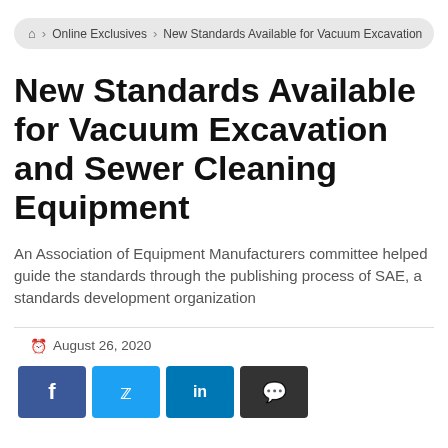🏠 > Online Exclusives > New Standards Available for Vacuum Excavation...
New Standards Available for Vacuum Excavation and Sewer Cleaning Equipment
An Association of Equipment Manufacturers committee helped guide the standards through the publishing process of SAE, a standards development organization
August 26, 2020